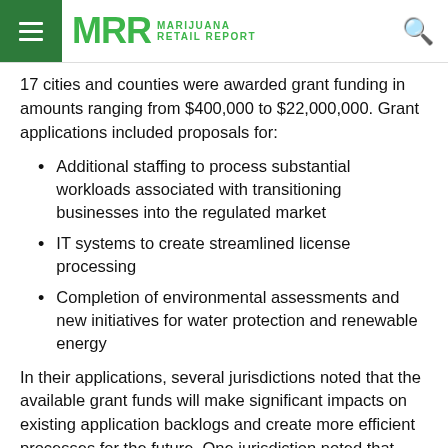MRR MARIJUANA RETAIL REPORT
17 cities and counties were awarded grant funding in amounts ranging from $400,000 to $22,000,000. Grant applications included proposals for:
Additional staffing to process substantial workloads associated with transitioning businesses into the regulated market
IT systems to create streamlined license processing
Completion of environmental assessments and new initiatives for water protection and renewable energy
In their applications, several jurisdictions noted that the available grant funds will make significant impacts on existing application backlogs and create more efficient processes for the future. One jurisdiction noted that without this funding, it would require approximately 3-4 years to complete a full review of pending applications.